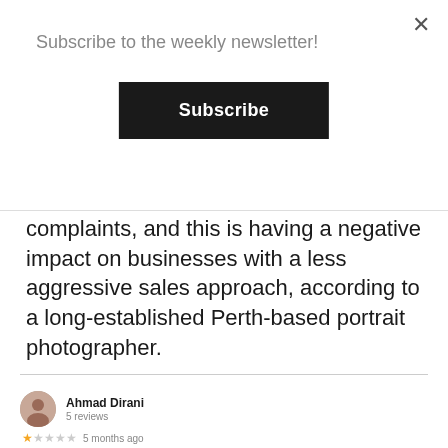Subscribe to the weekly newsletter!
Subscribe
complaints, and this is having a negative impact on businesses with a less aggressive sales approach, according to a long-established Perth-based portrait photographer.
[Figure (screenshot): Google review by Ahmad Dirani, 5 reviews, 1 star rating, 5 months ago. Review text: Horrible, horrible, horrible. Total scam! An embarrassment of a photography studio really!!! They give out fake vouchers and try to suck you in. I wish there was an option for 0 stars. There are much better studios out there, don't even bother with You Studios- Drummoyne. Thumbs up count: 9]
Hard-sell techniques, non-transparent pricing, and allegedly deceptive promotions are characteristics of a